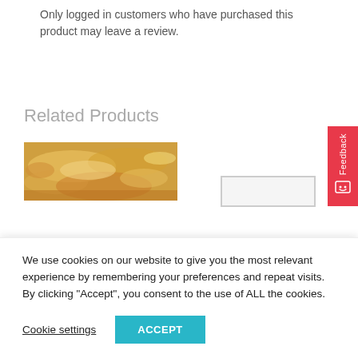Only logged in customers who have purchased this product may leave a review.
Related Products
[Figure (photo): Close-up photo of a baked food item, appears to be a cheesy or pastry dish with golden-brown top]
[Figure (other): Gray rectangular placeholder image for a product]
[Figure (other): Red feedback tab on the right side with 'Feedback' text and a smiley face icon]
We use cookies on our website to give you the most relevant experience by remembering your preferences and repeat visits. By clicking “Accept”, you consent to the use of ALL the cookies.
Cookie settings
ACCEPT